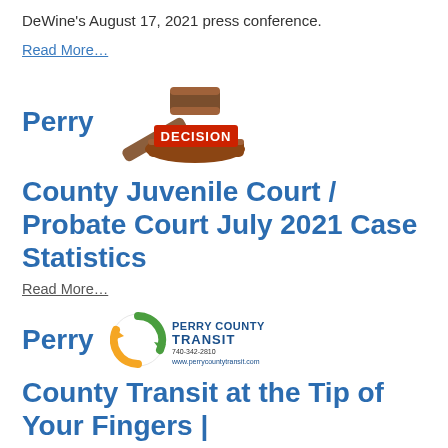DeWine's August 17, 2021 press conference.
Read More…
Perry
[Figure (illustration): A wooden judge's gavel resting on a round wooden base with the word DECISION in red/white block letters stacked on the base.]
County Juvenile Court / Probate Court July 2021 Case Statistics
Read More…
Perry
[Figure (logo): Perry County Transit logo: circular arrow icon with orange and green colors, text PERRY COUNTY TRANSIT, phone 740-342-2810, website www.perrycountytransit.com]
County Transit at the Tip of Your Fingers |